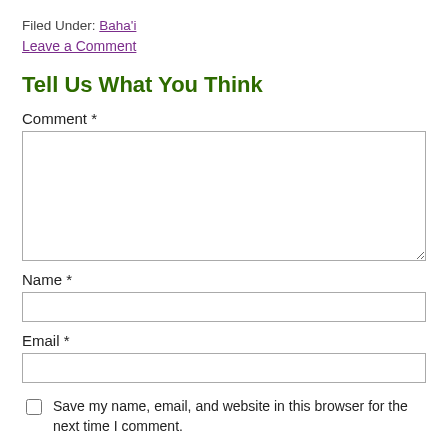Filed Under: Baha'i
Leave a Comment
Tell Us What You Think
Comment *
Name *
Email *
Save my name, email, and website in this browser for the next time I comment.